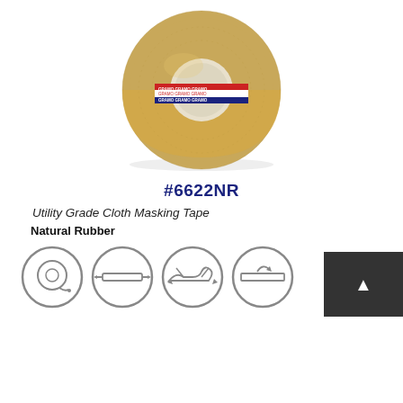[Figure (photo): A roll of tan/beige utility grade cloth masking tape with GRAMO branded label on the core edge, viewed from a slight angle showing the roll from the front.]
#6622NR
Utility Grade Cloth Masking Tape
Natural Rubber
[Figure (illustration): Four circular icons showing: 1) a roll of tape, 2) tape being pulled/applied to a surface with arrows, 3) hands stretching or tearing tape with arrows, 4) tape being torn or cut with scissors.]